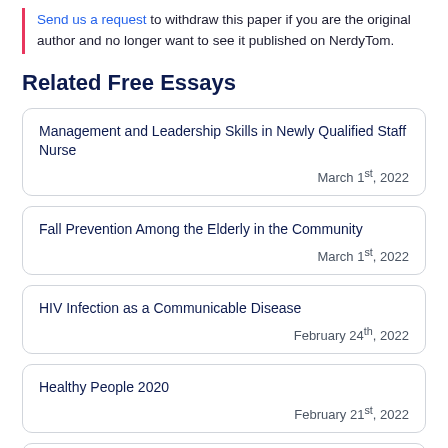Send us a request to withdraw this paper if you are the original author and no longer want to see it published on NerdyTom.
Related Free Essays
Management and Leadership Skills in Newly Qualified Staff Nurse
March 1st, 2022
Fall Prevention Among the Elderly in the Community
March 1st, 2022
HIV Infection as a Communicable Disease
February 24th, 2022
Healthy People 2020
February 21st, 2022
Asthma and Stepwise Management